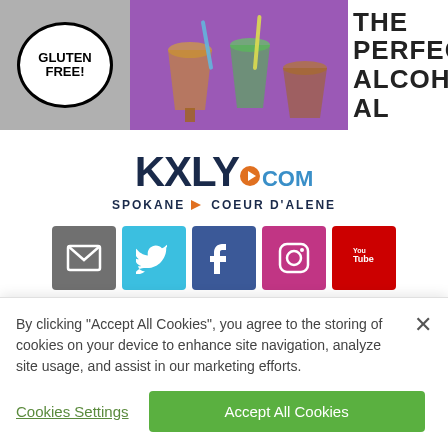[Figure (photo): Advertisement banner showing drinks with 'GLUTEN FREE!' speech bubble on left, colorful cocktail drinks in the middle, and text 'THE PERFECT ALCOHOL AL...' on the right]
[Figure (logo): KXLY.com logo with tagline SPOKANE ▶ COEUR D'ALENE and social media icons for email, Twitter, Facebook, Instagram, and YouTube]
By clicking “Accept All Cookies”, you agree to the storing of cookies on your device to enhance site navigation, analyze site usage, and assist in our marketing efforts.
Cookies Settings
Accept All Cookies